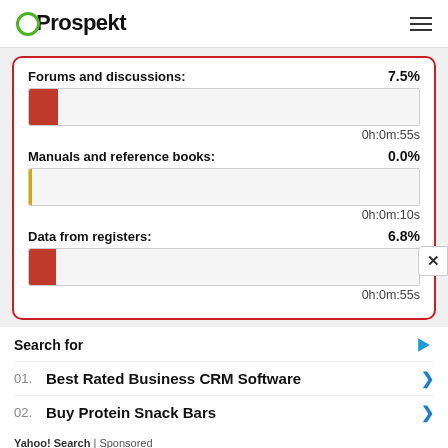Prospekt
[Figure (bar-chart): Forums and discussions / Manuals and reference books / Data from registers]
Search for
01. Best Rated Business CRM Software
02. Buy Protein Snack Bars
Yahoo! Search | Sponsored